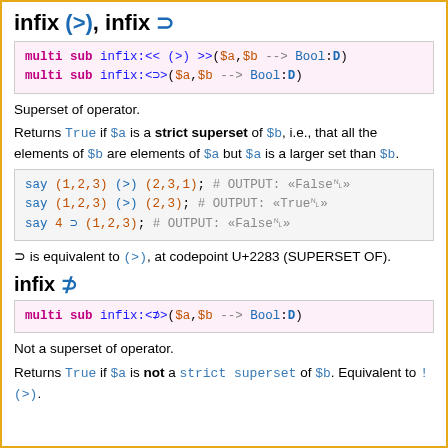infix (>), infix ⊃
| multi sub infix:<< (>) >>($a,$b --> Bool:D) |
| multi sub infix:<⊃>($a,$b --> Bool:D) |
Superset of operator.
Returns True if $a is a strict superset of $b, i.e., that all the elements of $b are elements of $a but $a is a larger set than $b.
| say (1,2,3) (>) (2,3,1); # OUTPUT: «False␤» |
| say (1,2,3) (>) (2,3); # OUTPUT: «True␤» |
| say 4 ⊃ (1,2,3); # OUTPUT: «False␤» |
⊃ is equivalent to (>), at codepoint U+2283 (SUPERSET OF).
infix ⊅
| multi sub infix:<⊅>($a,$b --> Bool:D) |
Not a superset of operator.
Returns True if $a is not a strict superset of $b. Equivalent to !(>).